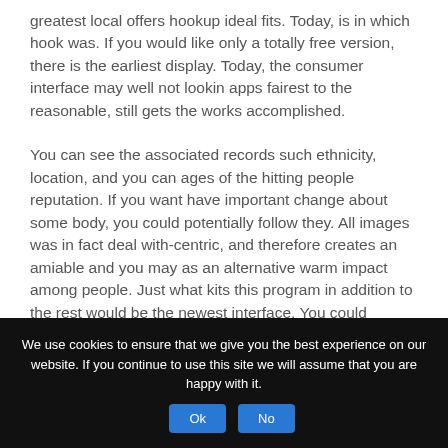greatest local offers hookup ideal fits. Today, is in which hook was. If you would like only a totally free version, there is the earliest display. Today, the consumer interface may well not lookin apps fairest to the reasonable, still gets the works accomplished.
You can see the associated records such ethnicity, location, and you can ages of the hitting people reputation. If you want have important change about some body, you could potentially follow they. All images was in fact deal with-centric, and therefore creates an amiable and you may as an alternative warm impact among people. Just what kits this program in addition to the rest would be the newest interface. You could potentially poke, send shout outs and a whole lot.
We use cookies to ensure that we give you the best experience on our website. If you continue to use this site we will assume that you are happy with it.